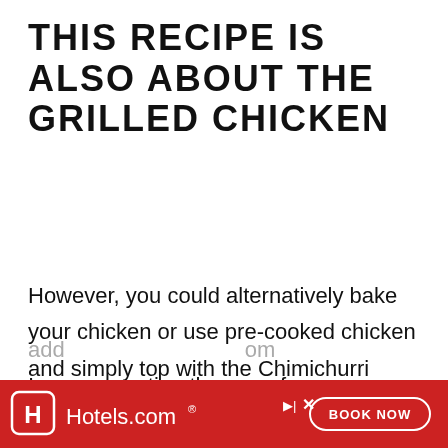THIS RECIPE IS ALSO ABOUT THE GRILLED CHICKEN
However, you could alternatively bake your chicken or use pre-cooked chicken and simply top with the Chimichurri sauce.
I am suggesting the use of chicken breast not only because it is a more healthy way to enjoy chicken, it also adds... .com
[Figure (screenshot): Hotels.com advertisement banner with red background, Hotels.com logo and icon on the left, and a 'BOOK NOW' button on the right]